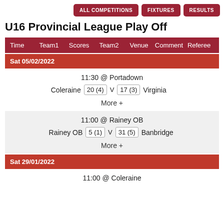ALL COMPETITIONS | FIXTURES | RESULTS
U16 Provincial League Play Off
| Time | Team1 | Scores | Team2 | Venue | Comment | Referee |
| --- | --- | --- | --- | --- | --- | --- |
| Sat 05/02/2022 |  |  |  |  |  |  |
| 11:30 @ Portadown |  |  |  |  |  |  |
| Coleraine |  | 20 (4) V 17 (3) |  | Virginia |  |  |
| More + |  |  |  |  |  |  |
| 11:00 @ Rainey OB |  |  |  |  |  |  |
| Rainey OB |  | 5 (1) V 31 (5) |  | Banbridge |  |  |
| More + |  |  |  |  |  |  |
| Sat 29/01/2022 |  |  |  |  |  |  |
| 11:00 @ Coleraine |  |  |  |  |  |  |
Sat 05/02/2022
11:30 @ Portadown
Coleraine 20 (4) V 17 (3) Virginia
More +
11:00 @ Rainey OB
Rainey OB 5 (1) V 31 (5) Banbridge
More +
Sat 29/01/2022
11:00 @ Coleraine